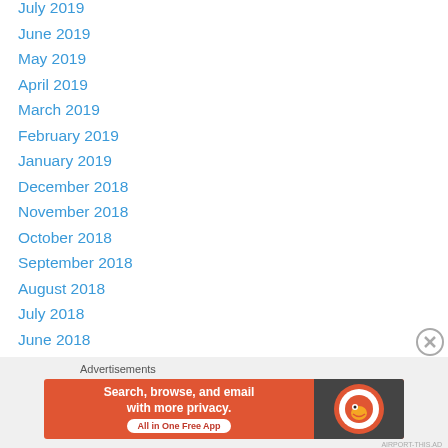July 2019
June 2019
May 2019
April 2019
March 2019
February 2019
January 2019
December 2018
November 2018
October 2018
September 2018
August 2018
July 2018
June 2018
May 2018
April 2018
March 2018
Advertisements
[Figure (other): DuckDuckGo advertisement banner: Search, browse, and email with more privacy. All in One Free App]